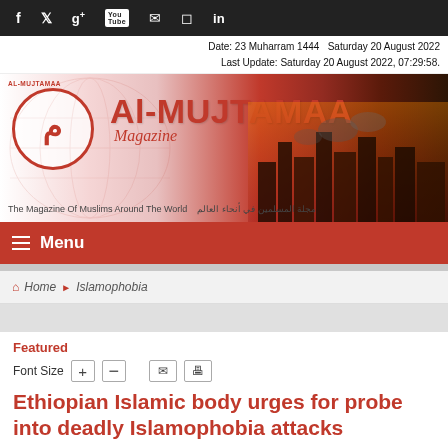Social media icons: f, twitter, g+, YouTube, mail, instagram, in
Date: 23 Muharram 1444   Saturday 20 August 2022
Last Update: Saturday 20 August 2022, 07:29:58.
[Figure (logo): Al-Mujtamaa Magazine banner with logo, title 'Al-MUJTAMAA Magazine', tagline 'The Magazine Of Muslims Around The World', cityscape background]
≡ Menu
🏠 Home ▶ Islamophobia
Featured
Font Size + −  ✉ 🖨
Ethiopian Islamic body urges for probe into deadly Islamophobia attacks